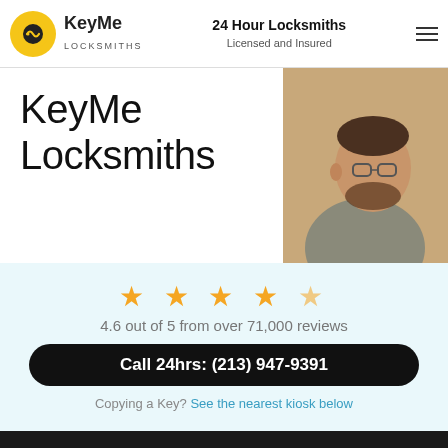KeyMe Locksmiths | 24 Hour Locksmiths Licensed and Insured
KeyMe Locksmiths
[Figure (photo): Locksmith technician working, partial view of man with glasses and beard]
4.6 out of 5 from over 71,000 reviews
Call 24hrs: (213) 947-9391
Copying a Key? See the nearest kiosk below
Emergencies
Average arrival time is 29 minutes
Call now: (213) 947-9391